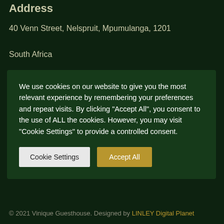Address
40 Venn Street, Nelspruit, Mpumulanga, 1201
South Africa
We use cookies on our website to give you the most relevant experience by remembering your preferences and repeat visits. By clicking “Accept All”, you consent to the use of ALL the cookies. However, you may visit “Cookie Settings” to provide a controlled consent.
© 2021 Vinique Guesthouse. Designed by LINLEY Digital Planet